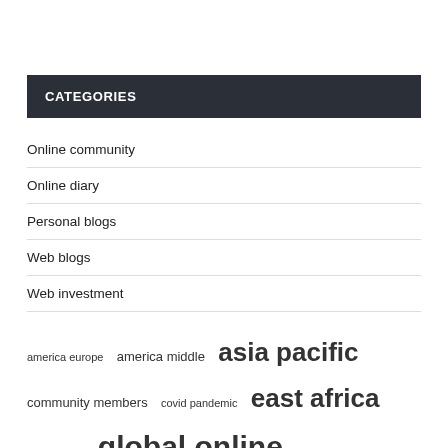CATEGORIES
Online community
Online diary
Personal blogs
Web blogs
Web investment
america europe  america middle  asia pacific  community members  covid pandemic  east africa  europe asia  global online  growth rate  long term  market report  market research  market share